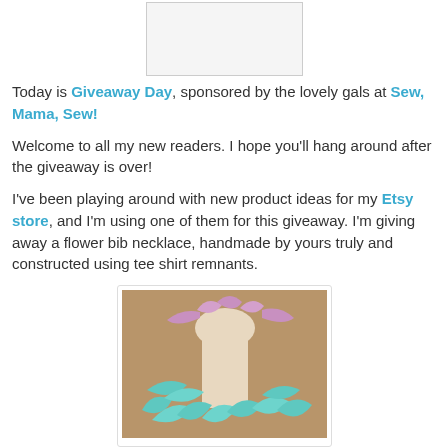[Figure (photo): A placeholder/empty image box at the top center of the page]
Today is Giveaway Day, sponsored by the lovely gals at Sew, Mama, Sew!
Welcome to all my new readers. I hope you'll hang around after the giveaway is over!
I've been playing around with new product ideas for my Etsy store, and I'm using one of them for this giveaway. I'm giving away a flower bib necklace, handmade by yours truly and constructed using tee shirt remnants.
[Figure (photo): A photo of a flower bib necklace made from tee shirt remnants, displayed on a mannequin neck. Features pink and teal fabric flowers.]